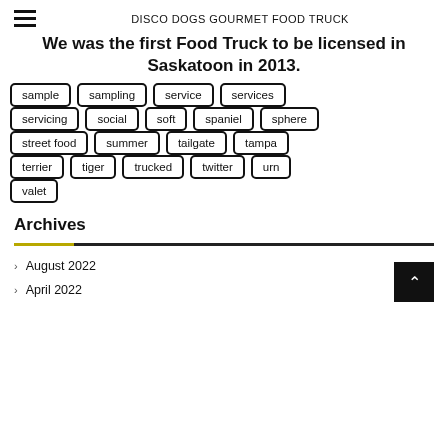DISCO DOGS GOURMET FOOD TRUCK
We was the first Food Truck to be licensed in Saskatoon in 2013.
sample
sampling
service
services
servicing
social
soft
spaniel
sphere
street food
summer
tailgate
tampa
terrier
tiger
trucked
twitter
urn
valet
Archives
August 2022
April 2022